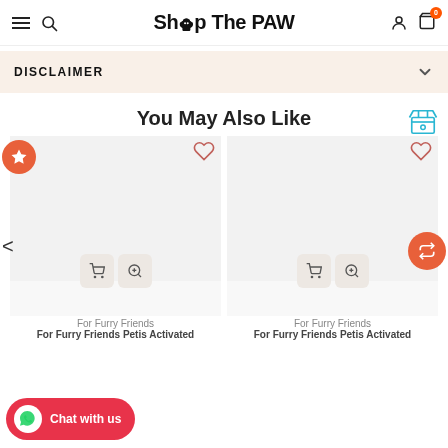Shop The Paw
DISCLAIMER
You May Also Like
For Furry Friends
For Furry Friends Petis Activated
For Furry Friends
For Furry Friends Petis Activated
Chat with us